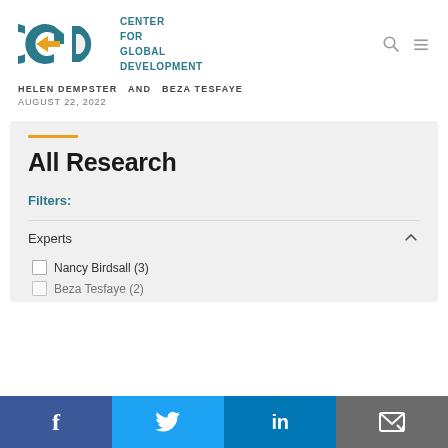[Figure (logo): CGD Center for Global Development logo with teal letters and yellow arrow]
HELEN DEMPSTER  AND  BEZA TESFAYE
AUGUST 22, 2022
All Research
Filters:
Experts
Nancy Birdsall (3)
Facebook, Twitter, LinkedIn, Email share icons